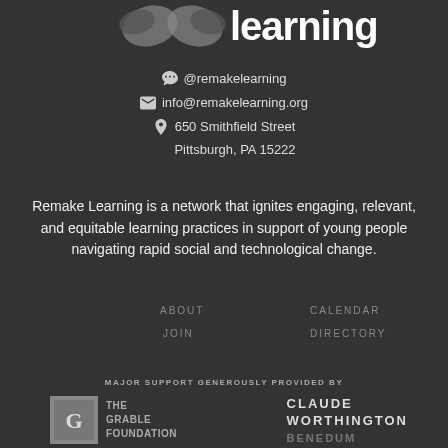[Figure (logo): Remake Learning logo — partial bird/arrow icon with 'learning' text in large white font on dark background]
@remakelearning
info@remakelearning.org
650 Smithfield Street
Pittsburgh, PA 15222
Remake Learning is a network that ignites engaging, relevant, and equitable learning practices in support of young people navigating rapid social and technological change.
ABOUT
CALENDAR
JOIN
DIRECTORY
MAJOR SUPPORT GENEROUSLY PROVIDED BY
[Figure (logo): The Grable Foundation logo — grey square with stylized G, followed by text THE GRABLE FOUNDATION]
CLAUDE
WORTHINGTON
BENEDUM